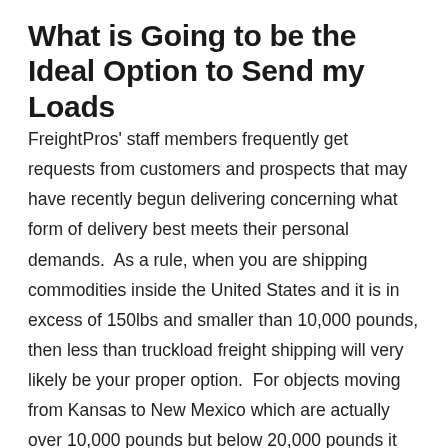What is Going to be the Ideal Option to Send my Loads
FreightPros' staff members frequently get requests from customers and prospects that may have recently begun delivering concerning what form of delivery best meets their personal demands.  As a rule, when you are shipping commodities inside the United States and it is in excess of 150lbs and smaller than 10,000 pounds, then less than truckload freight shipping will very likely be your proper option.  For objects moving from Kansas to New Mexico which are actually over 10,000 pounds but below 20,000 pounds it might be the right thing to seek a volume LTL shipment to move your LTL shipment.  In the event you are usually transporting cargo that could take up in excess of 14